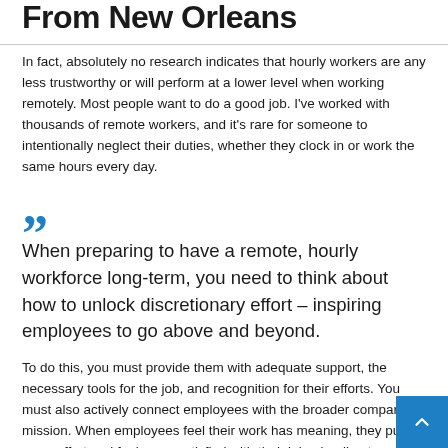From New Orleans
In fact, absolutely no research indicates that hourly workers are any less trustworthy or will perform at a lower level when working remotely. Most people want to do a good job. I've worked with thousands of remote workers, and it's rare for someone to intentionally neglect their duties, whether they clock in or work the same hours every day.
When preparing to have a remote, hourly workforce long-term, you need to think about how to unlock discretionary effort – inspiring employees to go above and beyond.
To do this, you must provide them with adequate support, the necessary tools for the job, and recognition for their efforts. You must also actively connect employees with the broader company mission. When employees feel their work has meaning, they put in more effort and feel more satisfied with their jobs, leading to greater productivity and retention.